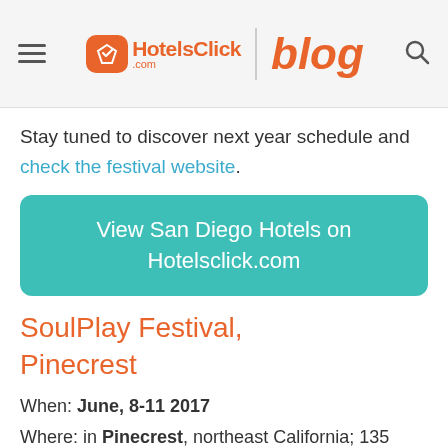HotelsClick.com blog
Stay tuned to discover next year schedule and check the festival website.
View San Diego Hotels on Hotelsclick.com
SoulPlay Festival, Pinecrest
When: June, 8-11 2017
Where: in Pinecrest, northeast California; 135 miles southeast of Sacramento, 160 miles northeast of San Francisco
It is set in a wonderful mountain